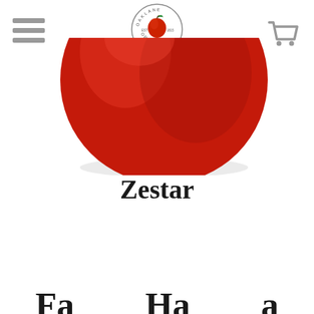Oaklane Orchards logo with hamburger menu and cart icon
[Figure (photo): Close-up photo of a red Zestar apple, showing the lower half of the apple with a slight shadow, on a white background]
Zestar
Fa... Ha... (partially visible bottom text, cut off)